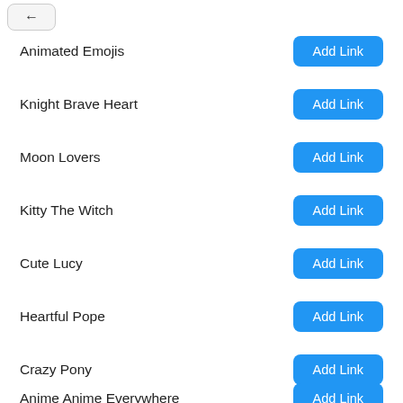Animated Emojis
Knight Brave Heart
Moon Lovers
Kitty The Witch
Cute Lucy
Heartful Pope
Crazy Pony
Anime Anime Everywhere